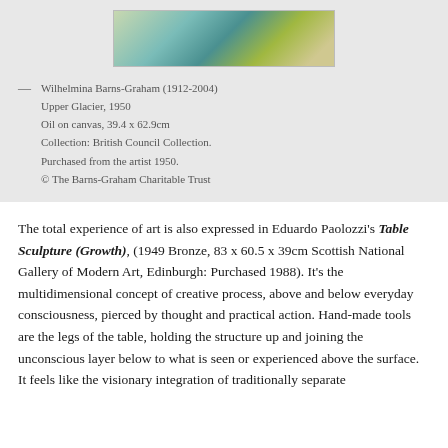[Figure (photo): Abstract painting with teal, green, yellow and white geometric shapes, Upper Glacier by Wilhelmina Barns-Graham]
— Wilhelmina Barns-Graham (1912-2004)
Upper Glacier, 1950
Oil on canvas, 39.4 x 62.9cm
Collection: British Council Collection. Purchased from the artist 1950.
© The Barns-Graham Charitable Trust
The total experience of art is also expressed in Eduardo Paolozzi's Table Sculpture (Growth), (1949 Bronze, 83 x 60.5 x 39cm Scottish National Gallery of Modern Art, Edinburgh: Purchased 1988). It's the multidimensional concept of creative process, above and below everyday consciousness, pierced by thought and practical action. Hand-made tools are the legs of the table, holding the structure up and joining the unconscious layer below to what is seen or experienced above the surface. It feels like the visionary integration of traditionally separate